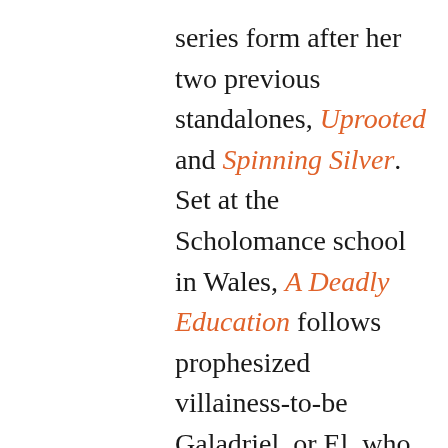series form after her two previous standalones, Uprooted and Spinning Silver. Set at the Scholomance school in Wales, A Deadly Education follows prophesized villainess-to-be Galadriel, or El, who despite her affinity for dark magic is trying to thwart her ominous destiny. Her acerbic attitude keeps people at arm's length—that is until she inadvertently catches the attention of school darling Orion Lake. She could care less, though. All she wants to do is keep her dark powers in check and maybe, hopefully, form an alliance by graduation so she can make it out of the Scholomance alive.